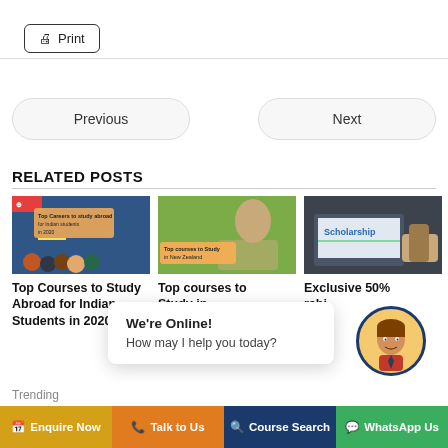[Figure (screenshot): Print button with printer icon]
[Figure (screenshot): Previous and Next navigation buttons]
RELATED POSTS
[Figure (photo): Image for Top Courses to Study Abroad for Indian Students in 2020]
[Figure (photo): Image for Top courses to Study in New Zealand]
[Figure (photo): Image for Exclusive 50% scholarship article]
Top Courses to Study Abroad for Indian Students in 2020
Trending
Top courses to Study in New Zealand
Exclusive 50% scholarship
We're Online!
How may I help you today?
Enquire Now | Talk to Us | Course Search | WhatsApp Us